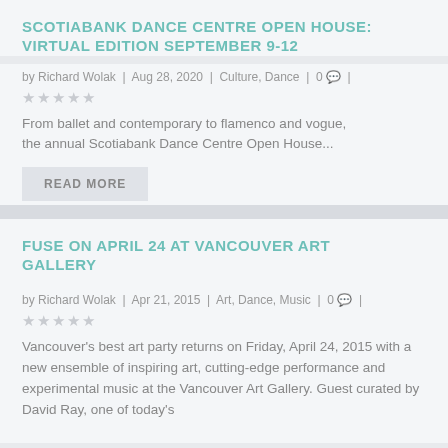SCOTIABANK DANCE CENTRE OPEN HOUSE: VIRTUAL EDITION SEPTEMBER 9-12
by Richard Wolak | Aug 28, 2020 | Culture, Dance | 0 |
★★★★★
From ballet and contemporary to flamenco and vogue, the annual Scotiabank Dance Centre Open House...
READ MORE
FUSE ON APRIL 24 AT VANCOUVER ART GALLERY
by Richard Wolak | Apr 21, 2015 | Art, Dance, Music | 0 |
★★★★★
Vancouver's best art party returns on Friday, April 24, 2015 with a new ensemble of inspiring art, cutting-edge performance and experimental music at the Vancouver Art Gallery. Guest curated by David Ray, one of today's